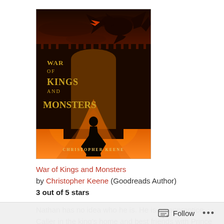[Figure (illustration): Book cover of 'War of Kings and Monsters' by Christopher Keene. Features a dark fantasy scene with a dragon silhouette at top, castle battlements, a cloaked figure on a glowing red/orange path, against a dramatic fiery sky. Title text in gold lettering. Author name at bottom.]
War of Kings and Monsters
by Christopher Keene (Goodreads Author)
3 out of 5 stars
Nathan has no idea who he is. He is an apprentice Caller in the king's home and best friends with Prince Michael, but he has no memory of his family and assumes he is an orphan. He
Follow ...